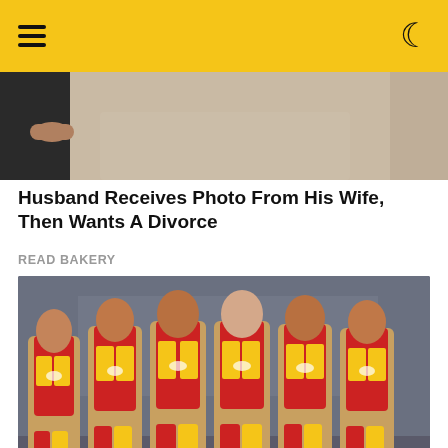[Figure (photo): Partial photo of a woman in beige clothing, cropped to show torso]
Husband Receives Photo From His Wife, Then Wants A Divorce
READ BAKERY
[Figure (photo): Six women cyclists wearing San Mateo Bogota team uniforms with skin-colored lower sections, standing in a row]
Who Thought These Were Okay? 9 Shocking Outfits Worn On Live TV